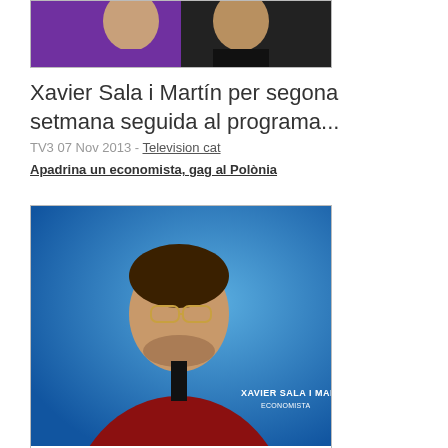[Figure (photo): Partial cropped image showing two people in purple and dark jackets, appears to be a TV show thumbnail]
Xavier Sala i Martín per segona setmana seguida al programa...
TV3 07 Nov 2013 - Television cat
Apadrina un economista, gag al Polònia
[Figure (photo): Photo of Xavier Sala i Martín wearing a red jacket and glasses, against a blue background, with watermark text 'XAVIER SALA I MARTÍN ECONOMISTA']
El dia que s'acabi la crisi, un col·lectiu ho passarà...
TV3 07 Nov 2013 - Television cat
Sala i Martin al Migdia de 8tv: "En una Catalunya independent